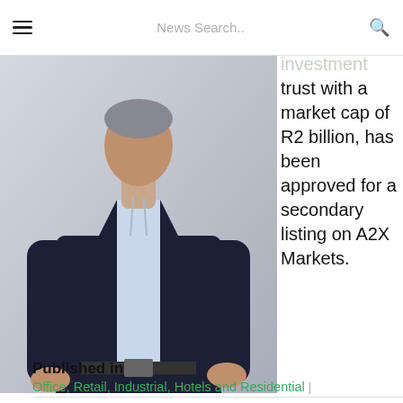News Search..
[Figure (photo): Man in dark suit jacket with light blue shirt, hands in pockets, standing against a light grey background]
Holdings, a real estate investment trust with a market cap of R2 billion, has been approved for a secondary listing on A2X Markets.
Published in
Office, Retail, Industrial, Hotels and Residential